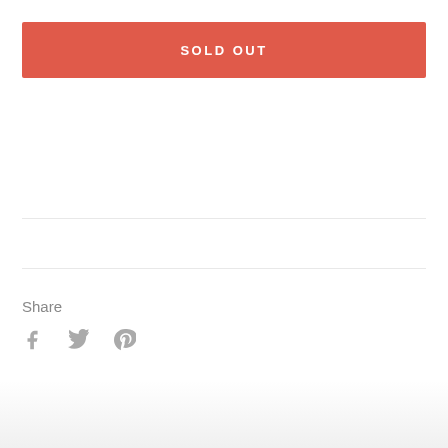SOLD OUT
Share
[Figure (illustration): Social sharing icons: Facebook (f), Twitter (bird), Pinterest (P circle)]